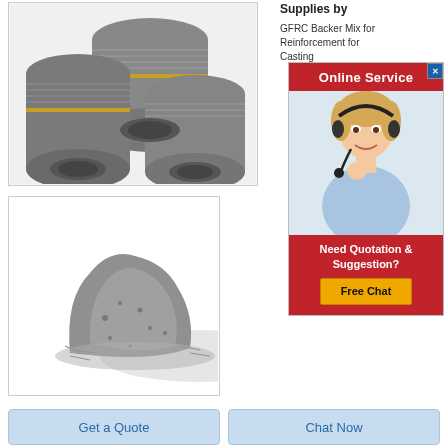[Figure (photo): Three large graphite electrode cylinders with threaded ends, stacked together, dark grey color]
[Figure (photo): Pile of grey metallic powder (GFRC backer mix) on white background]
Supplies by
GFRC Backer Mix for Reinforcement for Casting
[Figure (infographic): Online Service advertisement banner with red background, woman with headset, 'Need Quotation & Suggestion? Free Chat' button]
Get a Quote
Chat Now